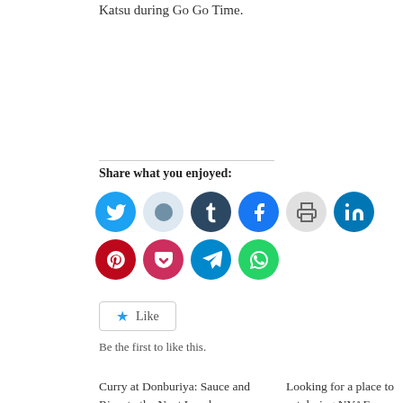Katsu during Go Go Time.
Share what you enjoyed:
[Figure (infographic): Row of social sharing icon buttons: Twitter, Reddit, Tumblr, Facebook, Print, LinkedIn, Pinterest, Pocket, Telegram, WhatsApp]
Like
Be the first to like this.
Curry at Donburiya: Sauce and Rice, to the Next Level
Let it be known that I am a proponent of curry. I've written many
Looking for a place to eat during NYAF weekend?
If you're in town for the New York Anime Festival, and you have